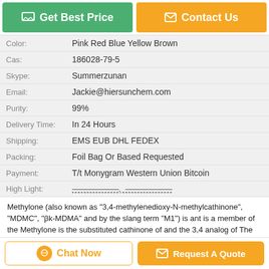[Figure (other): Get Best Price button (green) and Contact Us button (orange)]
| Field | Value |
| --- | --- |
| Color: | Pink Red Blue Yellow Brown |
| Cas: | 186028-79-5 |
| Skype: | Summerzunan |
| Email: | Jackie@hiersunchem.com |
| Purity: | 99% |
| Delivery Time: | In 24 Hours |
| Shipping: | EMS EUB DHL FEDEX |
| Packing: | Foil Bag Or Based Requested |
| Payment: | T/t Monygram Western Union Bitcoin |
| High Light: | ——————, —————— |
Methylone (also known as "3,4-methylenedioxy-N-methylcathinone", "MDMC", "βk-MDMA" and by the slang term "M1") is ant is a member of the Methylone is the substituted cathinone of and the 3,4 analog of The only ...
Tags: Active Pharmaceutical Ingredients , research chemical intermediates , cypionate testosterone
[Figure (other): Chat Now button (white with orange border) and Request A Quote button (orange)]